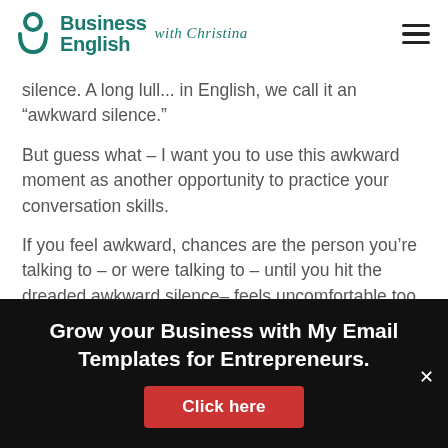Business English with Christina
silence. A long lull... in English, we call it an “awkward silence.”
But guess what – I want you to use this awkward moment as another opportunity to practice your conversation skills.
If you feel awkward, chances are the person you’re talking to – or were talking to – until you hit the dreaded awkward silence– feels uncomfortable too.
Grow your Business with My Email Templates for Entrepreneurs.
Click here